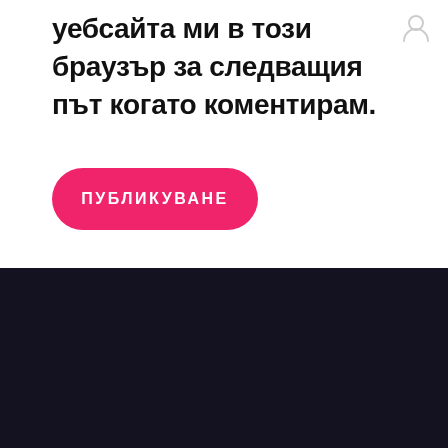уебсайта ми в този браузър за следващия път когато коментирам.
[Figure (illustration): Pink rounded rectangle button with uppercase Cyrillic text ПУБЛИКУВАНЕ]
[Figure (illustration): White outlined building/institution icon on dark background]
[Figure (illustration): Green circle phone call button with white phone handset icon]